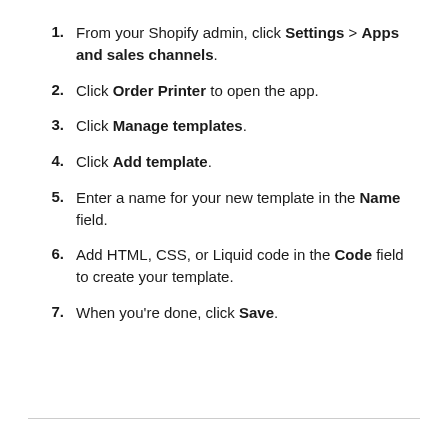From your Shopify admin, click Settings > Apps and sales channels.
Click Order Printer to open the app.
Click Manage templates.
Click Add template.
Enter a name for your new template in the Name field.
Add HTML, CSS, or Liquid code in the Code field to create your template.
When you're done, click Save.